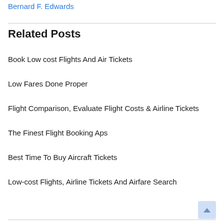Bernard F. Edwards
Related Posts
Book Low cost Flights And Air Tickets
Low Fares Done Proper
Flight Comparison, Evaluate Flight Costs & Airline Tickets
The Finest Flight Booking Aps
Best Time To Buy Aircraft Tickets
Low-cost Flights, Airline Tickets And Airfare Search